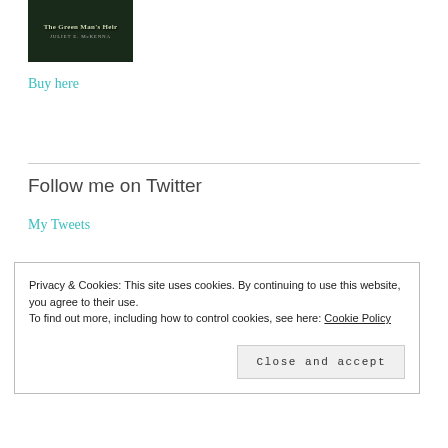[Figure (illustration): Book cover for 'The Green Man's Heir' by Juliet E. McKenna, dark green forest-themed cover]
Buy here
Follow me on Twitter
My Tweets
Privacy & Cookies: This site uses cookies. By continuing to use this website, you agree to their use.
To find out more, including how to control cookies, see here: Cookie Policy
Close and accept